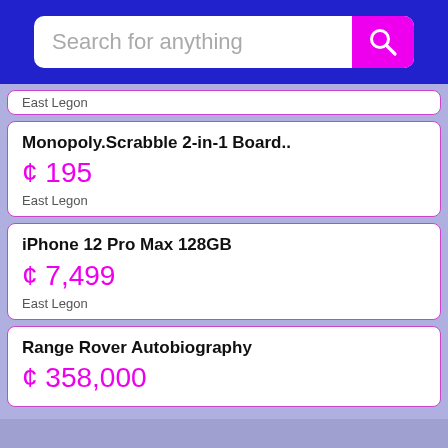[Figure (screenshot): Search bar with 'Search for anything' placeholder text and a magenta search button with magnifying glass icon, on a blue background header]
East Legon
Monopoly.Scrabble 2-in-1 Board.. ¢ 195 East Legon
iPhone 12 Pro Max 128GB ¢ 7,499 East Legon
Range Rover Autobiography ¢ 358,000